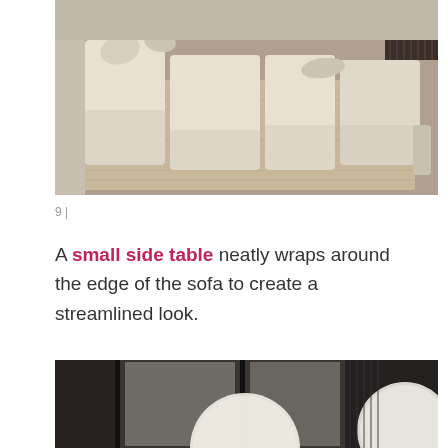[Figure (photo): Aerial view of a large modular cream/beige sectional sofa on a patterned woven rug in a modern living room with dark wood flooring and slatted wall panels. A small side table wraps around one end.]
9 |
A small side table neatly wraps around the edge of the sofa to create a streamlined look.
[Figure (photo): Dark interior room with floor-to-ceiling windows looking onto a snowy or misty exterior, with large round white pendant light fixtures hanging in the foreground.]